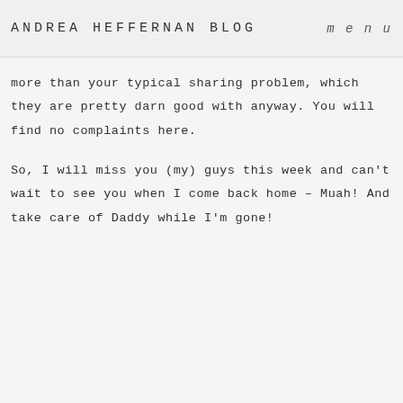ANDREA HEFFERNAN BLOG   menu
more than your typical sharing problem, which they are pretty darn good with anyway. You will find no complaints here.
So, I will miss you (my) guys this week and can't wait to see you when I come back home – Muah! And take care of Daddy while I'm gone!